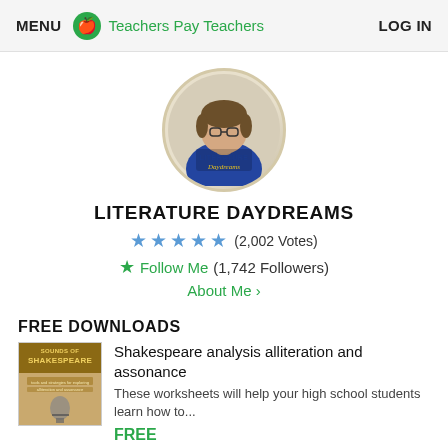MENU  Teachers Pay Teachers  LOG IN
[Figure (photo): Circular profile photo of a teacher with glasses and blue shirt, overlaid with 'Literature Daydreams' logo text]
LITERATURE DAYDREAMS
★★★★★ (2,002 Votes)
★ Follow Me (1,742 Followers)
About Me ›
FREE DOWNLOADS
[Figure (photo): Book cover thumbnail: 'Sounds of Shakespeare' with microphone imagery]
Shakespeare analysis alliteration and assonance
These worksheets will help your high school students learn how to...
FREE